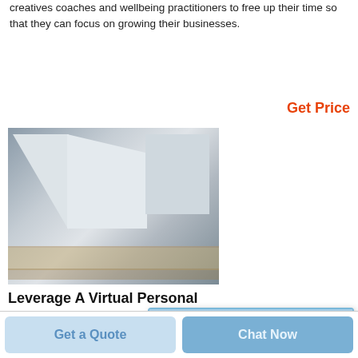creatives coaches and wellbeing practitioners to free up their time so that they can focus on growing their businesses.
Get Price
[Figure (photo): Photo of a large white flat panel or board on a wooden pallet in an industrial warehouse setting, with a Chinese chat popup dialog overlay showing text '在线客服正在邀请您进行对话' and two buttons '开始交谈' and '接受对话'.]
Leverage A Virtual Personal AssistantSOMEWHAT FRANK
· The following services offer virtual personal and executive assistant services
Get a Quote
Chat Now